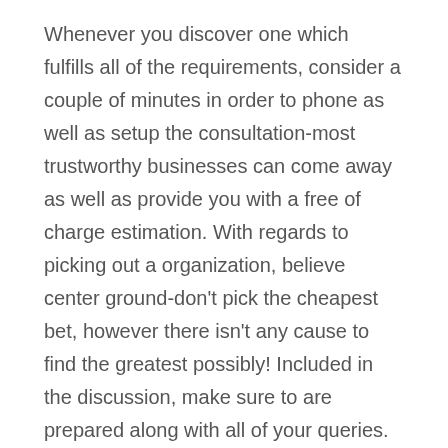Whenever you discover one which fulfills all of the requirements, consider a couple of minutes in order to phone as well as setup the consultation-most trustworthy businesses can come away as well as provide you with a free of charge estimation. With regards to picking out a organization, believe center ground-don't pick the cheapest bet, however there isn't any cause to find the greatest possibly! Included in the discussion, make sure to are prepared along with all of your queries. Right here several points you will need to request concerning the work.
Concerning the organization as well as items:
Would be the employees certified as well as covered? Which kind of guarantee will the actual roof covering